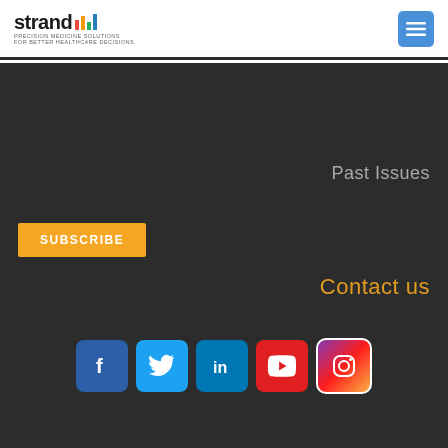[Figure (logo): Strand Precision Medicine Solutions logo with colored bar graph icon]
[Figure (other): Blue menu button with hamburger icon]
Past Issues
SUBSCRIBE
Contact us
[Figure (other): Social media icons: Facebook, Twitter, LinkedIn, YouTube, Instagram]